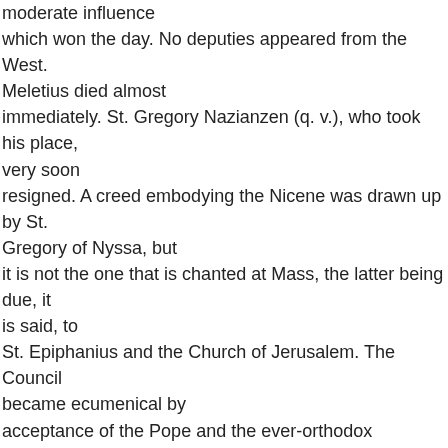moderate influence which won the day. No deputies appeared from the West. Meletius died almost immediately. St. Gregory Nazianzen (q. v.), who took his place, very soon resigned. A creed embodying the Nicene was drawn up by St. Gregory of Nyssa, but it is not the one that is chanted at Mass, the latter being due, it is said, to St. Epiphanius and the Church of Jerusalem. The Council became ecumenical by acceptance of the Pope and the ever-orthodox Westerns. From this moment Arianism in all its forms lost its place within the Empire. Its developments among the